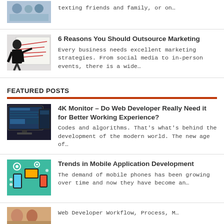[Figure (photo): Small thumbnail image of people, partially visible at top]
texting friends and family, or on…
[Figure (photo): Photo of a woman pointing at a whiteboard in a business setting]
6 Reasons You Should Outsource Marketing
Every business needs excellent marketing strategies. From social media to in-person events, there is a wide…
FEATURED POSTS
[Figure (photo): Photo of multiple monitors showing web development content]
4K Monitor – Do Web Developer Really Need it for Better Working Experience?
Codes and algorithms. That's what's behind the development of the modern world. The new age of…
[Figure (illustration): Colorful illustration of hands holding mobile devices with app icons]
Trends in Mobile Application Development
The demand of mobile phones has been growing over time and now they have become an…
[Figure (photo): Small thumbnail partially visible at bottom of page]
Web Developer Workflow, Process, M…